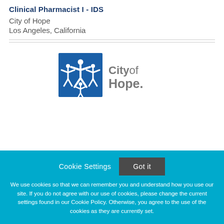Clinical Pharmacist I - IDS
City of Hope
Los Angeles, California
[Figure (logo): City of Hope logo with blue square icon showing human figures and 'City of Hope.' text beside it]
Cookie Settings   Got it

We use cookies so that we can remember you and understand how you use our site. If you do not agree with our use of cookies, please change the current settings found in our Cookie Policy. Otherwise, you agree to the use of the cookies as they are currently set.